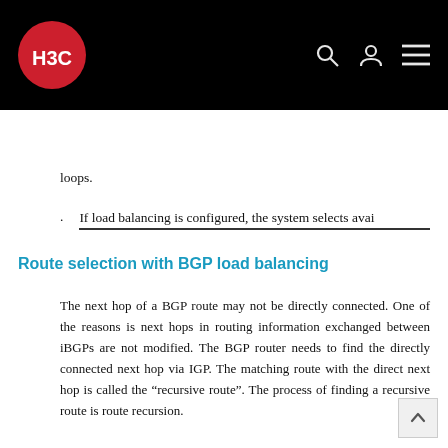H3C
loops.
If load balancing is configured, the system selects avai
Route selection with BGP load balancing
The next hop of a BGP route may not be directly connected. One of the reasons is next hops in routing information exchanged between iBGPs are not modified. The BGP router needs to find the directly connected next hop via IGP. The matching route with the direct next hop is called the “recursive route”. The process of finding a recursive route is route recursion.
The system supports BGP load balancing based on route recursion. If multiple recursive routes to the same destination are load balanced (suppose three direct next hop addresses), BGP generates the same number of next hops to